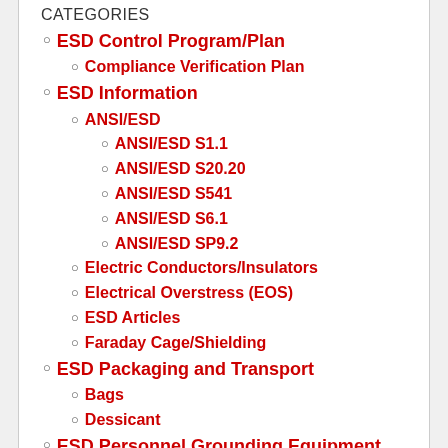CATEGORIES
ESD Control Program/Plan
Compliance Verification Plan
ESD Information
ANSI/ESD
ANSI/ESD S1.1
ANSI/ESD S20.20
ANSI/ESD S541
ANSI/ESD S6.1
ANSI/ESD SP9.2
Electric Conductors/Insulators
Electrical Overstress (EOS)
ESD Articles
Faraday Cage/Shielding
ESD Packaging and Transport
Bags
Dessicant
ESD Personnel Grounding Equipment
Foot Grounders